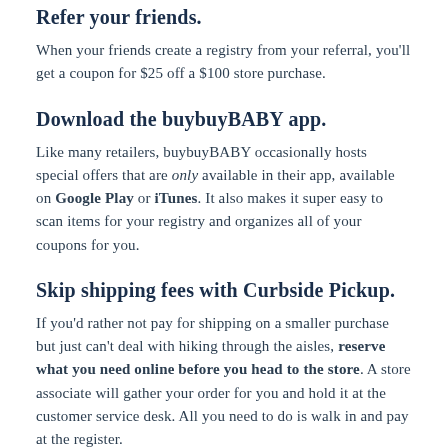Refer your friends.
When your friends create a registry from your referral, you'll get a coupon for $25 off a $100 store purchase.
Download the buybuyBABY app.
Like many retailers, buybuyBABY occasionally hosts special offers that are only available in their app, available on Google Play or iTunes. It also makes it super easy to scan items for your registry and organizes all of your coupons for you.
Skip shipping fees with Curbside Pickup.
If you'd rather not pay for shipping on a smaller purchase but just can't deal with hiking through the aisles, reserve what you need online before you head to the store. A store associate will gather your order for you and hold it at the customer service desk. All you need to do is walk in and pay at the register.